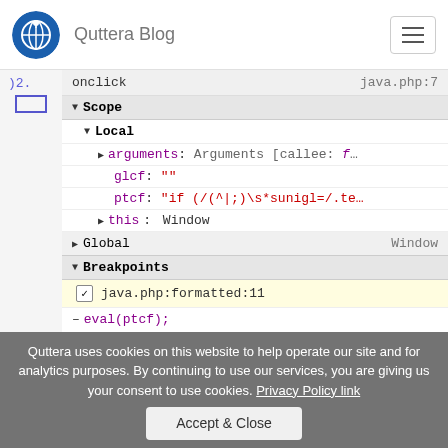Quttera Blog
[Figure (screenshot): Browser developer tools debugger panel showing Scope section with Local variables (arguments, glcf, ptcf, this) and Global/Breakpoints sections. A breakpoint is set at java.php:formatted:11. The onclick handler at java.php:7 is shown at the top.]
Step 6: Set another breakpoint. You're now looking at
Quttera uses cookies on this website to help operate our site and for analytics purposes. By continuing to use our services, you are giving us your consent to use cookies. Privacy Policy link
Accept & Close